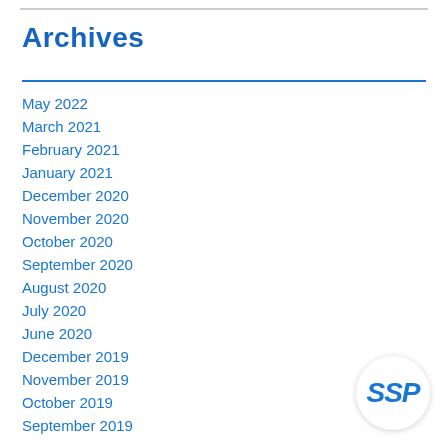Archives
May 2022
March 2021
February 2021
January 2021
December 2020
November 2020
October 2020
September 2020
August 2020
July 2020
June 2020
December 2019
November 2019
October 2019
September 2019
[Figure (logo): SSP logo in blue italic text inside a white circle with shadow]